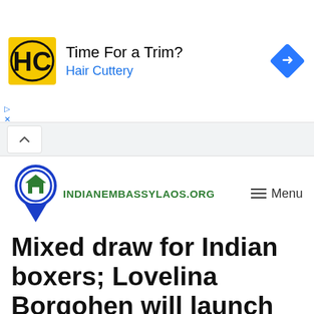[Figure (screenshot): Advertisement banner for Hair Cuttery with HC logo, text 'Time For a Trim? Hair Cuttery', and a blue diamond navigation icon on the right.]
[Figure (logo): indianembassylaos.org website logo with a blue map pin containing a green house icon, and green uppercase text INDIANEMBASSYLAOS.ORG, with a hamburger Menu button on the right.]
Mixed draw for Indian boxers; Lovelina Borgohen will launch the campaign on Opening Day